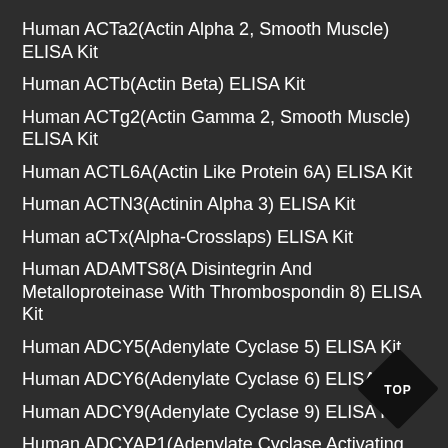Human ACTa2(Actin Alpha 2, Smooth Muscle) ELISA Kit
Human ACTb(Actin Beta) ELISA Kit
Human ACTg2(Actin Gamma 2, Smooth Muscle) ELISA Kit
Human ACTL6A(Actin Like Protein 6A) ELISA Kit
Human ACTN3(Actinin Alpha 3) ELISA Kit
Human aCTx(Alpha-Crosslaps) ELISA Kit
Human ADAMTS8(A Disintegrin And Metalloproteinase With Thrombospondin 8) ELISA Kit
Human ADCY5(Adenylate Cyclase 5) ELISA Kit
Human ADCY6(Adenylate Cyclase 6) ELISA Kit
Human ADCY9(Adenylate Cyclase 9) ELISA Kit
Human ADCYAP1(Adenylate Cyclase Activating Polypeptide 1, Pituitary) ELISA Kit